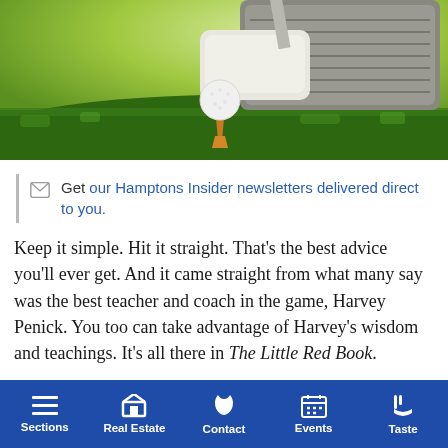[Figure (photo): Close-up photo of a golf ball on a tee with a golf club driver behind it, set on green grass]
Get our Hamptons Insider newsletters delivered direct to you.
Keep it simple. Hit it straight. That’s the best advice you’ll ever get. And it came straight from what many say was the best teacher and coach in the game, Harvey Penick. You too can take advantage of Harvey’s wisdom and teachings. It’s all there in The Little Red Book.
Harvey got his start in golf at the ripe old age of eight. The
Sections | Real Estate | Contact | Events | Taste